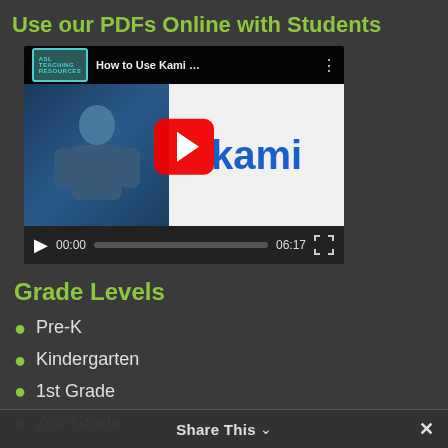Use our PDFs Online with Students
[Figure (screenshot): YouTube video thumbnail showing 'How to Use Kami for PDFs' with play button, video controls showing 00:00 / 06:17]
Grade Levels
Pre-K
Kindergarten
1st Grade
2nd Grade
Account
ASL Teaching Resources Memberships
Share This ∨